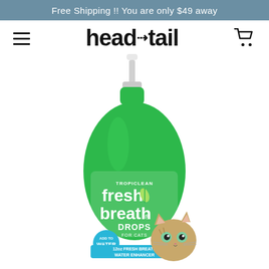Free Shipping !! You are only $49 away
[Figure (logo): head to tail brand logo with hamburger menu icon on left and shopping cart icon on right]
[Figure (photo): TropiClean Fresh Breath Drops for Cats product bottle - green pump bottle with kitten image, labelled '12oz Fresh Breath Water Enhancer', Add to Water, Fresh Breath Drops for Cats]